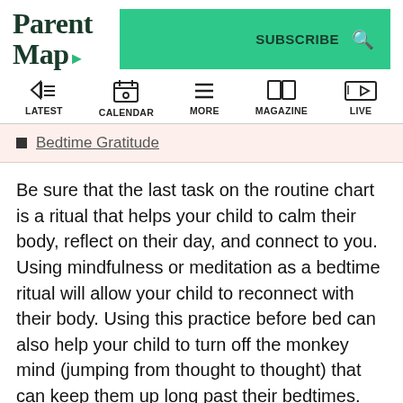ParentMap
SUBSCRIBE
LATEST CALENDAR MORE MAGAZINE LIVE
Bedtime Gratitude
Be sure that the last task on the routine chart is a ritual that helps your child to calm their body, reflect on their day, and connect to you. Using mindfulness or meditation as a bedtime ritual will allow your child to reconnect with their body. Using this practice before bed can also help your child to turn off the monkey mind (jumping from thought to thought) that can keep them up long past their bedtimes. Guided